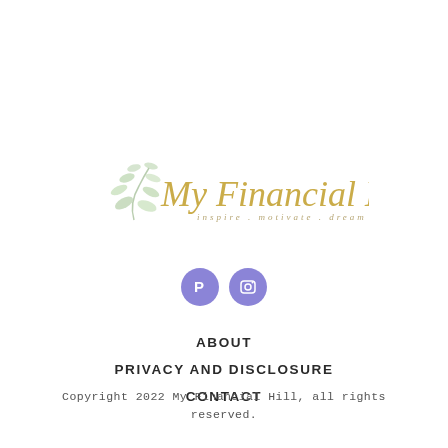[Figure (logo): My Financial Hill logo with green botanical leaf illustration on left and gold cursive script reading 'My Financial Hill' with tagline 'inspire . motivate . dream' below in small letters]
[Figure (other): Two social media icon circles in purple/periwinkle: Pinterest (P icon) and Instagram (camera icon)]
ABOUT
PRIVACY AND DISCLOSURE
CONTACT
Copyright 2022 My Financial Hill, all rights reserved.